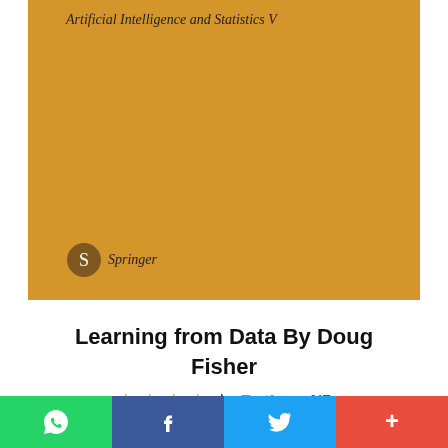[Figure (photo): Book cover with golden/amber background showing 'Artificial Intelligence and Statistics V' text at top and Springer logo at bottom left]
Learning from Data By Doug Fisher
★★★★★ Rating: 4/5
I WANT TO READ THIS
[Figure (infographic): Social sharing bar with WhatsApp (green), Facebook (blue), Twitter (light blue), and plus/more (red) buttons]